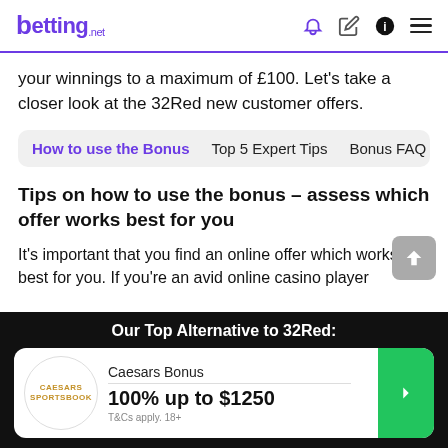betting.net
your winnings to a maximum of £100. Let's take a closer look at the 32Red new customer offers.
How to use the Bonus   Top 5 Expert Tips   Bonus FAQ
Tips on how to use the bonus – assess which offer works best for you
It's important that you find an online offer which works best for you. If you're an avid online casino player
Our Top Alternative to 32Red: Caesars Bonus 100% up to $1250 T&Cs apply. 18+